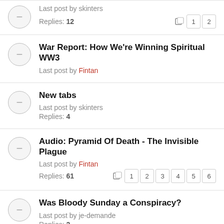New InformedConscientia Website — Last post by skinters — Replies: 12 — Pages: 1 2
War Report: How We're Winning Spiritual WW3 — Last post by Fintan
New tabs — Last post by skinters — Replies: 4
Audio: Pyramid Of Death - The Invisible Plague — Last post by Fintan — Replies: 61 — Pages: 1 2 3 4 5 6
Was Bloody Sunday a Conspiracy? — Last post by je-demande — Replies: 2